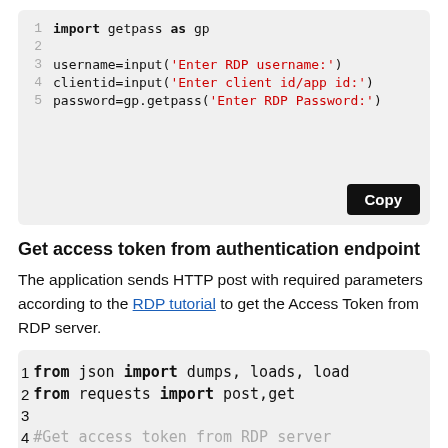[Figure (screenshot): Code block showing Python code: import getpass as gp, username=input, clientid=input, password=gp.getpass with a Copy button]
Get access token from authentication endpoint
The application sends HTTP post with required parameters according to the RDP tutorial to get the Access Token from RDP server.
[Figure (screenshot): Code block showing Python code: from json import dumps, loads, load; from requests import post,get; #Get access token from RDP server; getTokenEndpoint="https://api.refinitiv.com/auth/oauth2/v1/token"]